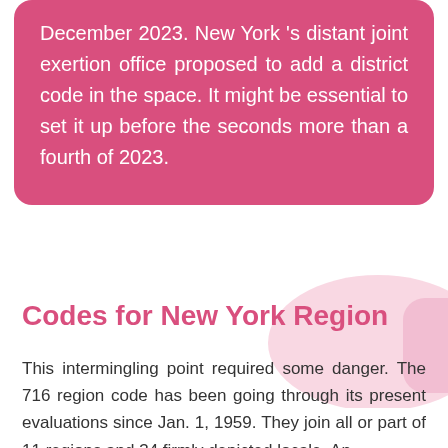December 2023. New York 's distant joint exertion office proposed to add a district code in the space. It might be essential to set it up before the seconds more than a fourth of 2023.
Codes for New York Region
This intermingling point required some danger. The 716 region code has been going through its present evaluations since Jan. 1, 1959. They join all or part of 11 regions and 34 firmly depicted locale. An